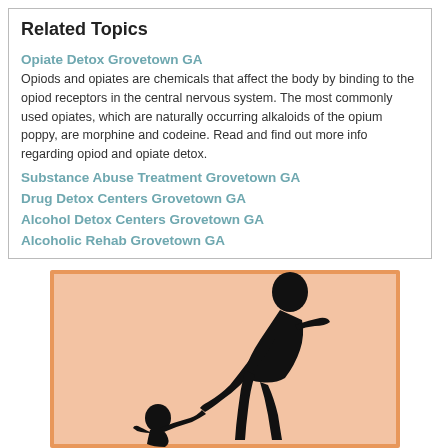Related Topics
Opiate Detox Grovetown GA
Opiods and opiates are chemicals that affect the body by binding to the opiod receptors in the central nervous system. The most commonly used opiates, which are naturally occurring alkaloids of the opium poppy, are morphine and codeine. Read and find out more info regarding opiod and opiate detox.
Substance Abuse Treatment Grovetown GA
Drug Detox Centers Grovetown GA
Alcohol Detox Centers Grovetown GA
Alcoholic Rehab Grovetown GA
[Figure (illustration): Silhouette of a taller adult figure leaning down and reaching out a hand to help a smaller child figure, set against a peach/warm background with an orange border frame.]